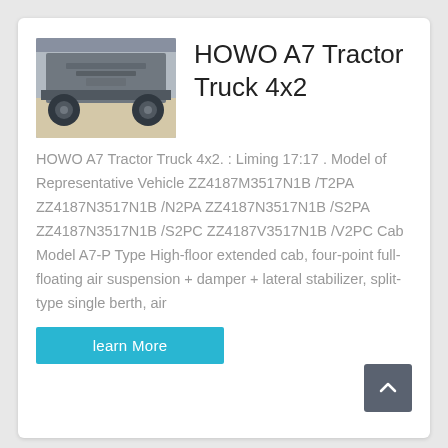[Figure (photo): Underside/rear view of HOWO A7 Tractor Truck 4x2, showing chassis and axles from ground level]
HOWO A7 Tractor Truck 4x2
HOWO A7 Tractor Truck 4x2. : Liming 17:17 . Model of Representative Vehicle ZZ4187M3517N1B /T2PA ZZ4187N3517N1B /N2PA ZZ4187N3517N1B /S2PA ZZ4187N3517N1B /S2PC ZZ4187V3517N1B /V2PC Cab Model A7-P Type High-floor extended cab, four-point full-floating air suspension + damper + lateral stabilizer, split-type single berth, air
learn More